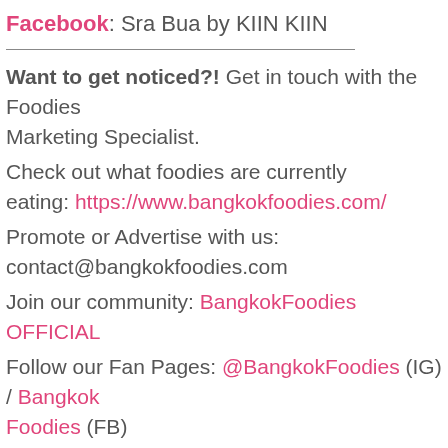Facebook: Sra Bua by KIIN KIIN
Want to get noticed?! Get in touch with the Foodies Marketing Specialist.
Check out what foodies are currently eating: https://www.bangkokfoodies.com/
Promote or Advertise with us:
contact@bangkokfoodies.com
Join our community: BangkokFoodies OFFICIAL
Follow our Fan Pages: @BangkokFoodies (IG) / Bangkok Foodies (FB)